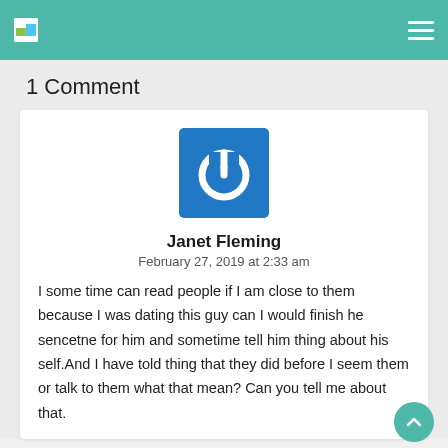1 Comment
[Figure (logo): Blue square with white power button icon representing a user avatar]
Janet Fleming
February 27, 2019 at 2:33 am
I some time can read people if I am close to them because I was dating this guy can I would finish he sencetne for him and sometime tell him thing about his self.And I have told thing that they did before I seem them or talk to them what that mean? Can you tell me about that.